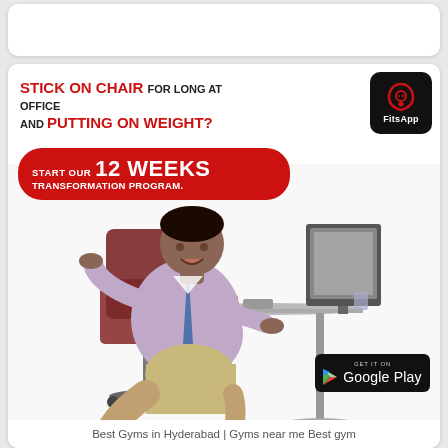[Figure (advertisement): FitsApp advertisement showing an overweight man leaning back on an office chair at a desk. Text reads: 'STICK ON CHAIR FOR LONG AT OFFICE AND PUTTING ON WEIGHT? START OUR 12 WEEKS TRANSFORMATION PROGRAM.' FitsApp logo in top-right corner, Google Play badge in bottom-right.]
Best Gyms in Hyderabad | Gyms near me  Best gym